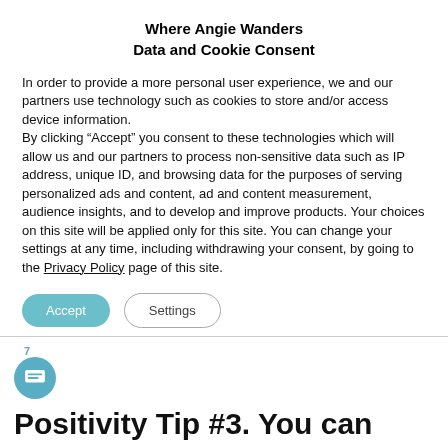Where Angie Wanders
Data and Cookie Consent
In order to provide a more personal user experience, we and our partners use technology such as cookies to store and/or access device information.
By clicking “Accept” you consent to these technologies which will allow us and our partners to process non-sensitive data such as IP address, unique ID, and browsing data for the purposes of serving personalized ads and content, ad and content measurement, audience insights, and to develop and improve products. Your choices on this site will be applied only for this site. You can change your settings at any time, including withdrawing your consent, by going to the Privacy Policy page of this site.
Accept   Settings
7
Positivity Tip #3. You can